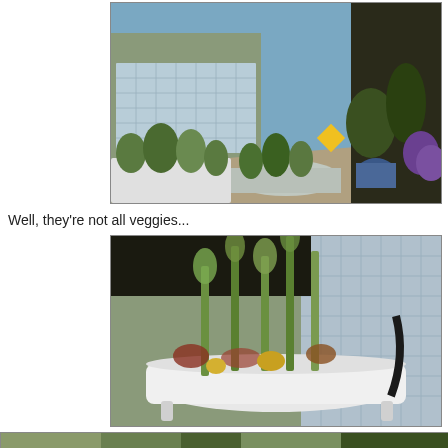[Figure (photo): Outdoor garden along the side of a building with glass block windows. Plant boxes and raised beds with various plants and flowers fill a narrow pathway. A yellow diamond-shaped sign is visible. Blue pots with plants on the right side. Clear sunny day.]
Well, they're not all veggies...
[Figure (photo): Close-up of carnivorous plants (Sarracenia pitcher plants) growing in a white vintage clawfoot bathtub used as a planter, placed outside against a glass block wall.]
[Figure (photo): Partial view of another garden photo at the bottom of the page, cut off.]